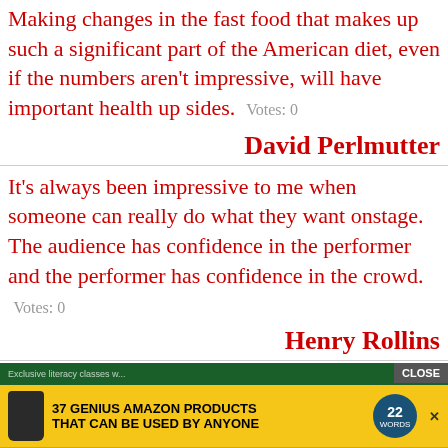Making changes in the fast food that makes up such a significant part of the American diet, even if the numbers aren't impressive, will have important health up sides.  Votes: 0
David Perlmutter
It's always been impressive to me when someone can really do what they want onstage. The audience has confidence in the performer and the performer has confidence in the crowd.  Votes: 0
Henry Rollins
[Figure (screenshot): Advertisement banner showing '37 GENIUS AMAZON PRODUCTS THAT CAN BE USED BY ANYONE' with a supplement bottle image, yellow background, circular badge, a CLOSE button, a green header bar, and a crowd photo below.]